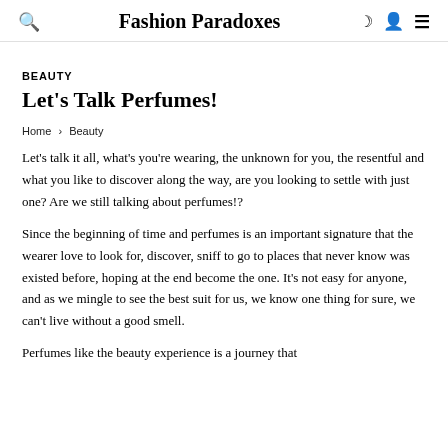Fashion Paradoxes
BEAUTY
Let's Talk Perfumes!
Home › Beauty
Let's talk it all, what's you're wearing, the unknown for you, the resentful and what you like to discover along the way, are you looking to settle with just one? Are we still talking about perfumes!?
Since the beginning of time and perfumes is an important signature that the wearer love to look for, discover, sniff to go to places that never know was existed before, hoping at the end become the one. It's not easy for anyone, and as we mingle to see the best suit for us, we know one thing for sure, we can't live without a good smell.
Perfumes like the beauty experience is a journey that...